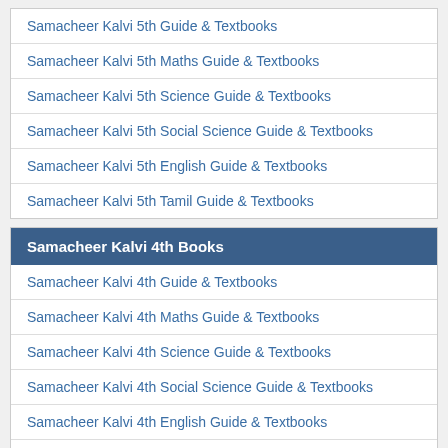Samacheer Kalvi 5th Guide & Textbooks
Samacheer Kalvi 5th Maths Guide & Textbooks
Samacheer Kalvi 5th Science Guide & Textbooks
Samacheer Kalvi 5th Social Science Guide & Textbooks
Samacheer Kalvi 5th English Guide & Textbooks
Samacheer Kalvi 5th Tamil Guide & Textbooks
Samacheer Kalvi 4th Books
Samacheer Kalvi 4th Guide & Textbooks
Samacheer Kalvi 4th Maths Guide & Textbooks
Samacheer Kalvi 4th Science Guide & Textbooks
Samacheer Kalvi 4th Social Science Guide & Textbooks
Samacheer Kalvi 4th English Guide & Textbooks
Samacheer Kalvi 4th Tamil Guide & Textbooks